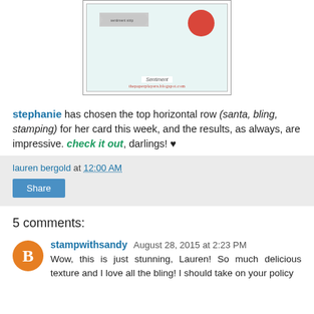[Figure (illustration): A card design showing a teal background with a red circle, a ribbon/banner element, a 'Sentiment' label, and the URL thepaperplayers.blogspot.com at the bottom.]
stephanie has chosen the top horizontal row (santa, bling, stamping) for her card this week, and the results, as always, are impressive. check it out, darlings! ♥
lauren bergold at 12:00 AM
Share
5 comments:
stampwithsandy August 28, 2015 at 2:23 PM
Wow, this is just stunning, Lauren! So much delicious texture and I love all the bling! I should take on your policy